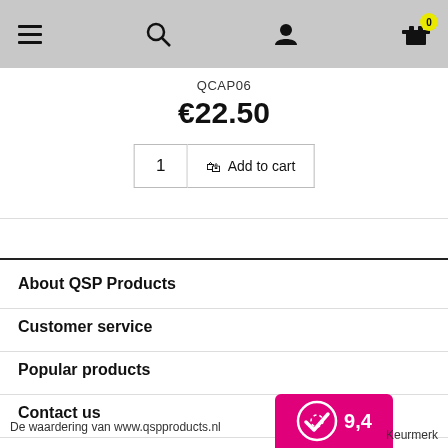[Figure (screenshot): Navigation bar with hamburger menu, search icon, user icon, and cart icon with badge showing 0]
QCAP06
€22.50
[Figure (screenshot): Add to cart section with quantity input showing 1 and Add to cart button]
About QSP Products
Customer service
Popular products
Contact us
De waardering van www.qspproducts.nl
Keurmerk
[Figure (logo): Keurmerk badge with score 9,4 on pink/magenta background]